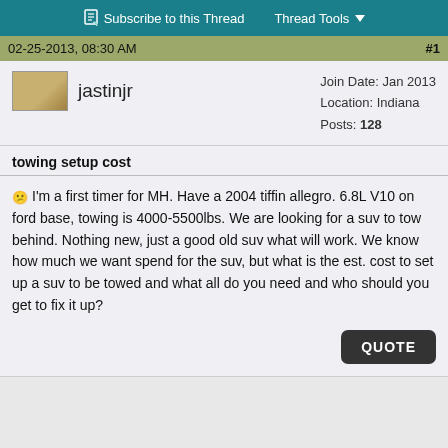Subscribe to this Thread   Thread Tools
02-25-2013, 08:30 AM   #1
jastinjr   Join Date: Jan 2013  Location: Indiana  Posts: 128
towing setup cost
I'm a first timer for MH. Have a 2004 tiffin allegro. 6.8L V10 on ford base, towing is 4000-5500lbs. We are looking for a suv to tow behind. Nothing new, just a good old suv what will work. We know how much we want spend for the suv, but what is the est. cost to set up a suv to be towed and what all do you need and who should you get to fix it up?